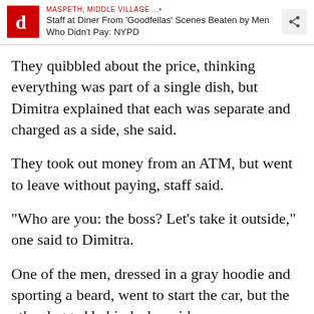MASPETH, MIDDLE VILLAGE ...• Staff at Diner From 'Goodfellas' Scenes Beaten by Men Who Didn't Pay: NYPD
They quibbled about the price, thinking everything was part of a single dish, but Dimitra explained that each was separate and charged as a side, she said.
They took out money from an ATM, but went to leave without paying, staff said.
"Who are you: the boss? Let's take it outside," one said to Dimitra.
One of the men, dressed in a gray hoodie and sporting a beard, went to start the car, but the other lagged behind, she said.
"My wife walked after them to collect the money. She